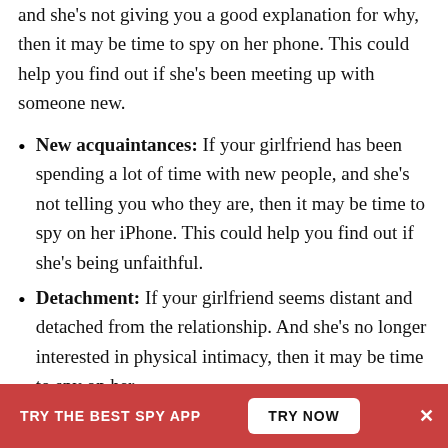and she's not giving you a good explanation for why, then it may be time to spy on her phone. This could help you find out if she's been meeting up with someone new.
New acquaintances: If your girlfriend has been spending a lot of time with new people, and she's not telling you who they are, then it may be time to spy on her iPhone. This could help you find out if she's being unfaithful.
Detachment: If your girlfriend seems distant and detached from the relationship. And she's no longer interested in physical intimacy, then it may be time to spy on her
TRY THE BEST SPY APP
TRY NOW